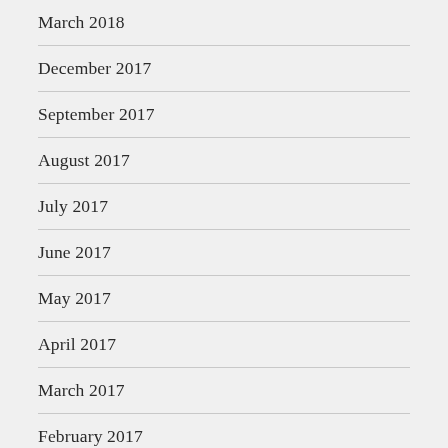March 2018
December 2017
September 2017
August 2017
July 2017
June 2017
May 2017
April 2017
March 2017
February 2017